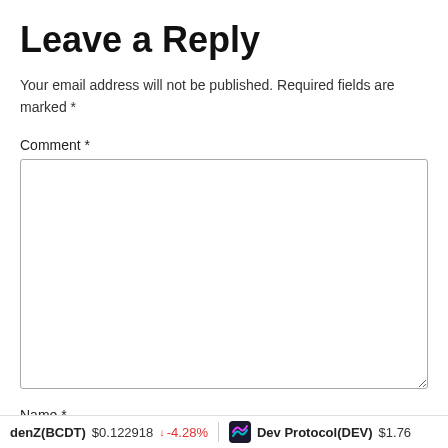Leave a Reply
Your email address will not be published. Required fields are marked *
Comment *
Name *
denZ(BCDT)  $0.122918  ↓ -4.28%    Dev Protocol(DEV)  $1.76